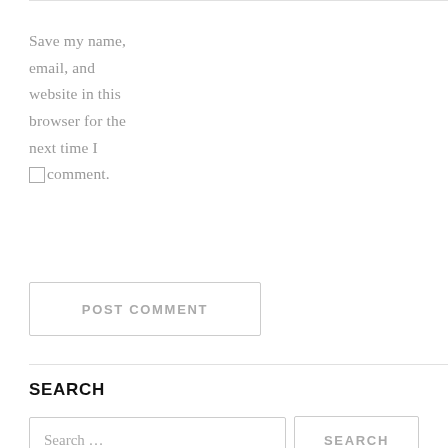Save my name, email, and website in this browser for the next time I comment.
POST COMMENT
SEARCH
Search …
SEARCH